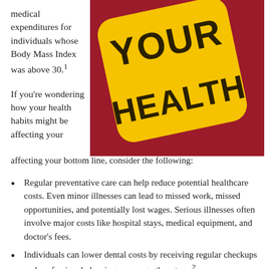medical expenditures for individuals whose Body Mass Index was above 30.¹
[Figure (photo): A yellow sign with bold dark text reading 'YOUR HEALTH' on a red background, shown at an angle.]
If you're wondering how your health habits might be affecting your bottom line, consider the following:
Regular preventative care can help reduce potential healthcare costs. Even minor illnesses can lead to missed work, missed opportunities, and potentially lost wages. Serious illnesses often involve major costs like hospital stays, medical equipment, and doctor's fees.
Individuals can lower dental costs by receiving regular checkups and professional cleanings, among other steps.²